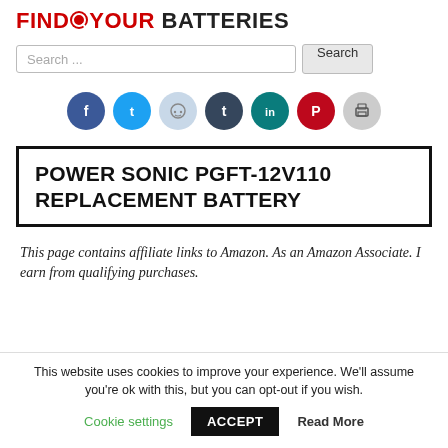FIND YOUR BATTERIES
Search ...
[Figure (infographic): Social sharing icons row: Facebook (blue), Twitter (cyan), Reddit (light blue-gray), Tumblr (dark blue), LinkedIn (teal), Pinterest (red), Print (light gray)]
POWER SONIC PGFT-12V110 REPLACEMENT BATTERY
This page contains affiliate links to Amazon. As an Amazon Associate. I earn from qualifying purchases.
This website uses cookies to improve your experience. We'll assume you're ok with this, but you can opt-out if you wish.
Cookie settings  ACCEPT  Read More